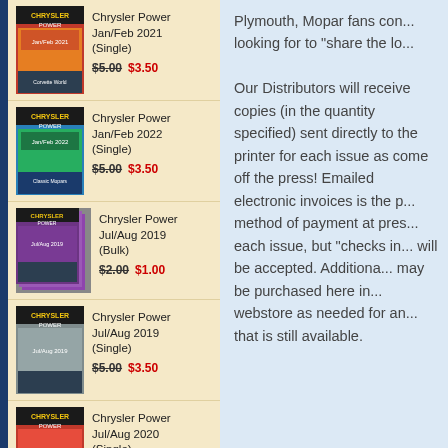Chrysler Power Jan/Feb 2021 (Single) $5.00 $3.50
Chrysler Power Jan/Feb 2022 (Single) $5.00 $3.50
Chrysler Power Jul/Aug 2019 (Bulk) $2.00 $1.00
Chrysler Power Jul/Aug 2019 (Single) $5.00 $3.50
Chrysler Power Jul/Aug 2020 (Single) $5.00 $3.50
Plymouth, Mopar fans con... looking for to "share the lo...

Our Distributors will receive copies (in the quantity specified) sent directly to the printer for each issue as come off the press! Emailed electronic invoices is the preferred method of payment at press each issue, but "checks in..." will be accepted. Additional copies may be purchased here in the webstore as needed for any issue that is still available.